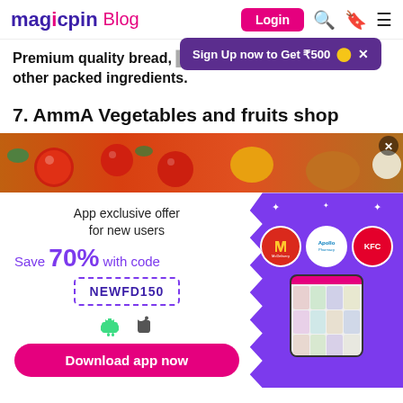magicpin Blog | Login
Sign Up now to Get ₹500 ×
Premium quality bread, ... and other packed ingredients.
7. AmmA Vegetables and fruits shop
[Figure (photo): Photo of colorful vegetables and fruits (tomatoes, peppers, onions) used as banner image for AmmA Vegetables and fruits shop section]
[Figure (infographic): App promotional banner: App exclusive offer for new users, Save 70% with code NEWFD150, Download app now button, showing McDelivery, Apollo, KFC brand circles and a phone mockup on purple background]